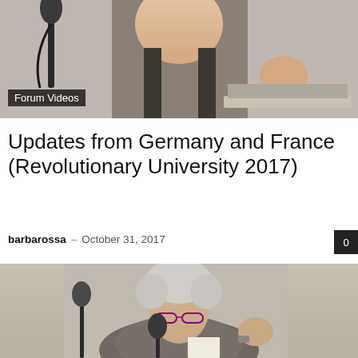[Figure (photo): Person at a microphone speaking at a forum, cropped to show upper body and hands gesturing, with a laptop visible.]
Forum Videos
Updates from Germany and France (Revolutionary University 2017)
barbarossa – October 31, 2017
[Figure (photo): Older woman with gray hair and glasses speaking at a microphone, holding a paper, gesturing with her right hand.]